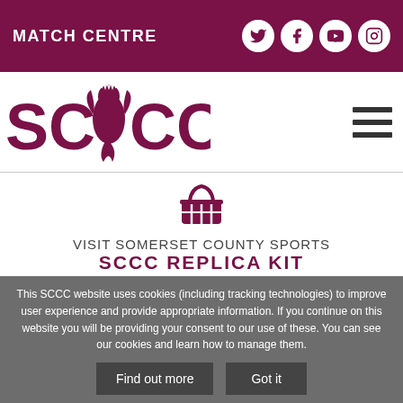MATCH CENTRE
[Figure (logo): SCCC Somerset County Cricket Club logo with griffin emblem and text SC CC]
[Figure (illustration): Shopping basket icon in maroon]
VISIT SOMERSET COUNTY SPORTS SCCC REPLICA KIT
This SCCC website uses cookies (including tracking technologies) to improve user experience and provide appropriate information. If you continue on this website you will be providing your consent to our use of these. You can see our cookies and learn how to manage them.
Find out more
Got it